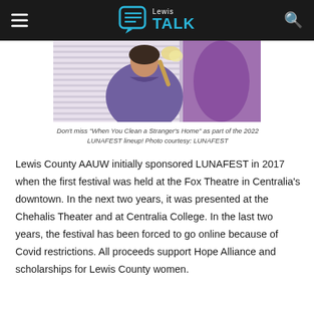Lewis TALK
[Figure (photo): Two people in purple scrubs, one holding a feather duster, standing near window blinds in a cleaning scene]
Don't miss "When You Clean a Stranger's Home" as part of the 2022 LUNAFEST lineup! Photo courtesy: LUNAFEST
Lewis County AAUW initially sponsored LUNAFEST in 2017 when the first festival was held at the Fox Theatre in Centralia's downtown. In the next two years, it was presented at the Chehalis Theater and at Centralia College. In the last two years, the festival has been forced to go online because of Covid restrictions. All proceeds support Hope Alliance and scholarships for Lewis County women.